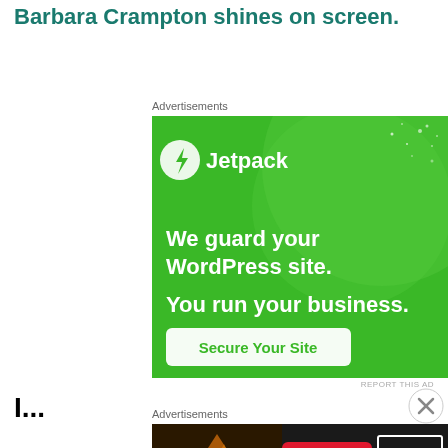Barbara Crampton shines on screen.
Advertisements
[Figure (screenshot): Jetpack advertisement: green background with large circle, Jetpack logo and name, text 'We guard your WordPress site. You run your business.' with a 'Secure Your Site' button.]
REPORT THIS AD
I...
Advertisements
[Figure (screenshot): Seamless food delivery advertisement showing pizza slices, Seamless logo in pink/red, and 'ORDER NOW' button.]